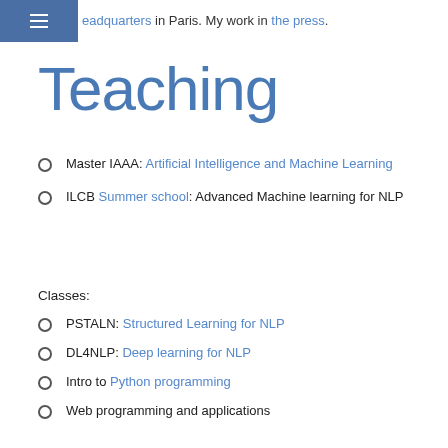eadquarters in Paris. My work in the press.
Teaching
Master IAAA: Artificial Intelligence and Machine Learning
ILCB Summer school: Advanced Machine learning for NLP
Classes:
PSTALN: Structured Learning for NLP
DL4NLP: Deep learning for NLP
Intro to Python programming
Web programming and applications